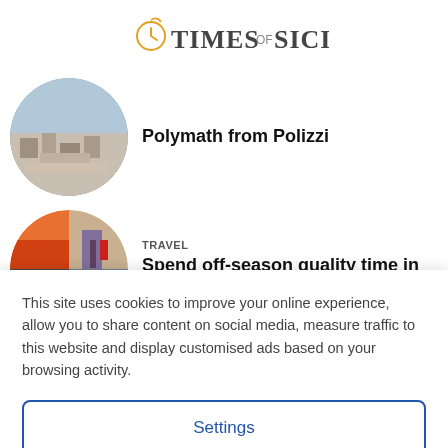TIMES OF SICILY
[Figure (photo): Circular cropped aerial photo of a Sicilian hilltown]
Polymath from Polizzi
[Figure (photo): Circular cropped collage of travel photos of Sicily including sunset, buildings and a vehicle]
TRAVEL
Spend off-season quality time in Sicily
This site uses cookies to improve your online experience, allow you to share content on social media, measure traffic to this website and display customised ads based on your browsing activity.
Settings
Accept